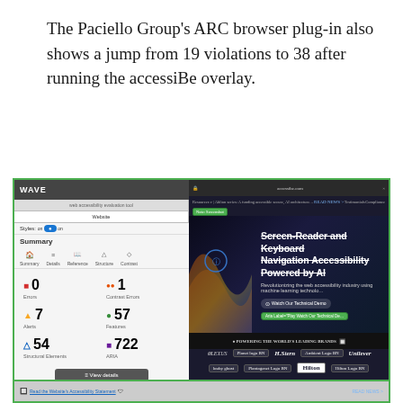The Paciello Group's ARC browser plug-in also shows a jump from 19 violations to 38 after running the accessiBe overlay.
[Figure (screenshot): Screenshot of WAVE accessibility evaluation tool showing summary panel on left (0 errors, 1 contrast error, 7 alerts, 57 features, 54 structural elements, 722 ARIA) alongside accessiBe website with green overlay badges highlighting accessibility issues. Screen-Reader and Keyboard Navigation text visible with strikethrough. Brands including Lexus, H.Stern, Unilever, Hilton, Louisa Ghost, Quicksilver shown at bottom.]
[Figure (screenshot): Partial screenshot of second browser view showing Read the Website's Accessibility Statement link and READ NEWS navigation with green ARC overlay badges.]